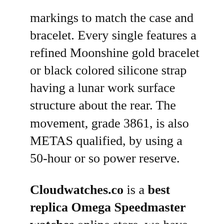markings to match the case and bracelet. Every single features a refined Moonshine gold bracelet or black colored silicone strap having a lunar work surface structure about the rear. The movement, grade 3861, is also METAS qualified, by using a 50-hour or so power reserve.
Cloudwatches.co is a best replica Omega Speedmaster watches online store, we have diversified service provider dedicating to supply our loyal and dependable customers with all replica watches online across the world. As an established company with a sound prestige in selling replica watches, we provide a wide array of replica watches and professional customer